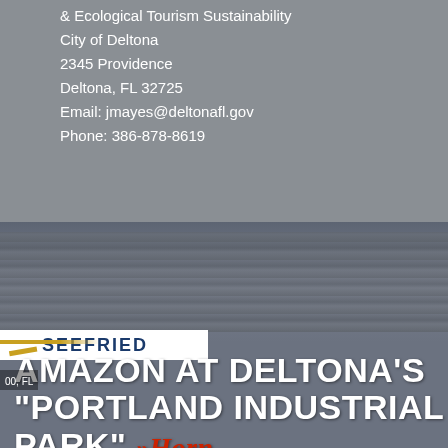& Ecological Tourism Sustainability
City of Deltona
2345 Providence
Deltona, FL 32725
Email: jmayes@deltonafl.gov
Phone: 386-878-8619
[Figure (photo): Aerial/architectural photo of Portland Industrial Park with overlaid company logos (Seefried Industries, Associates Architects, Horn), and a large bold white headline overlay.]
AMAZON AT DELTONA'S "PORTLAND INDUSTRIAL PARK"